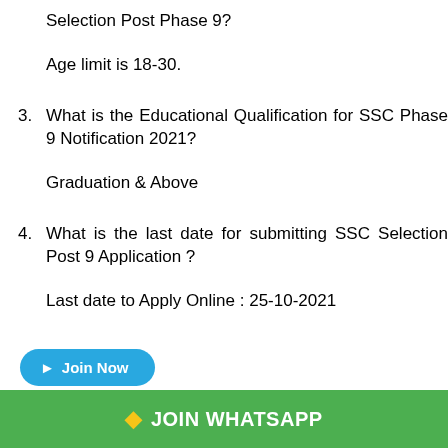Selection Post Phase 9?
Age limit is 18-30.
3. What is the Educational Qualification for SSC Phase 9 Notification 2021?
Graduation & Above
4. What is the last date for submitting SSC Selection Post 9 Application ?
Last date to Apply Online :  25-10-2021
[Figure (infographic): Join Now button (blue rounded rectangle with Telegram arrow icon) and JOIN WHATSAPP green banner at the bottom]